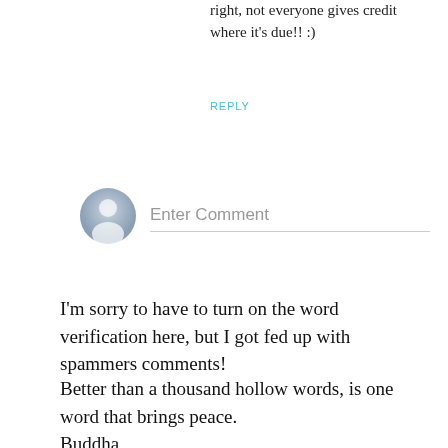glad you appreciate that! No that, but you're right, not everyone gives credit where it's due!! :)
REPLY
[Figure (illustration): Generic user avatar icon — grey circle with a silhouette of a person]
Enter Comment
I'm sorry to have to turn on the word verification here, but I got fed up with spammers comments!
Better than a thousand hollow words, is one word that brings peace.
Buddha